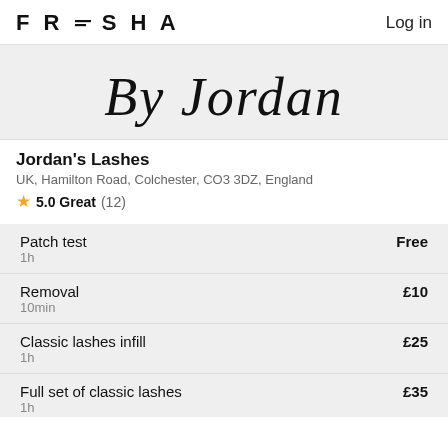FRESHA   Log in
[Figure (illustration): Cursive script logo reading 'By Jordan' in decorative black script font on a light grey background]
Jordan's Lashes
UK, Hamilton Road, Colchester, CO3 3DZ, England
⭐ 5.0 Great (12)
| Service | Duration | Price |
| --- | --- | --- |
| Patch test | 1h | Free |
| Removal | 10min | £10 |
| Classic lashes infill | 1h | £25 |
| Full set of classic lashes | 1h | £35 |